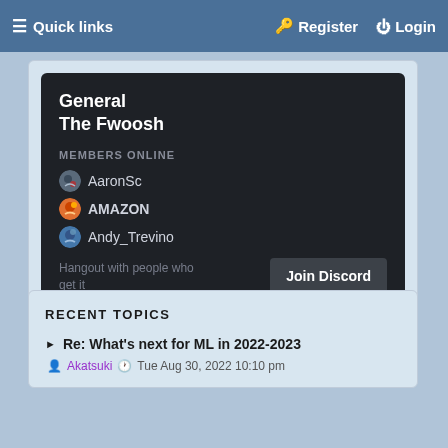☰ Quick links    🔑 Register    ⏻ Login
General
The Fwoosh
MEMBERS ONLINE
AaronSc
AMAZON
Andy_Trevino
Hangout with people who get it
Join Discord
RECENT TOPICS
Re: What's next for ML in 2022-2023
Akatsuki  Tue Aug 30, 2022 10:10 pm